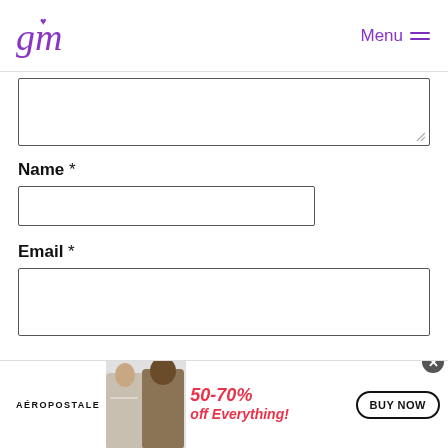gm logo / Menu
[Figure (other): Text input box (textarea) partially visible at top of form]
Name *
[Figure (other): Name text input field]
Email *
[Figure (other): Email text input field]
[Figure (infographic): Aeropostale advertisement banner: 50-70% off Everything! BUY NOW]